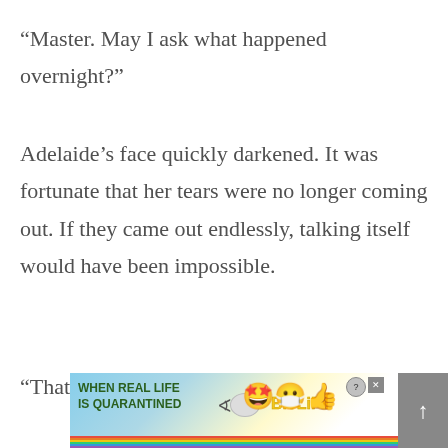“Master. May I ask what happened overnight?”
Adelaide’s face quickly darkened. It was fortunate that her tears were no longer coming out. If they came out endlessly, talking itself would have been impossible.
“That, you see…”
[Figure (other): Advertisement banner for BitLife mobile game showing rainbow colors and text 'When Real Life Is Quarantined' with BitLife logo and emoji characters, with a scroll-to-top button on the right.]